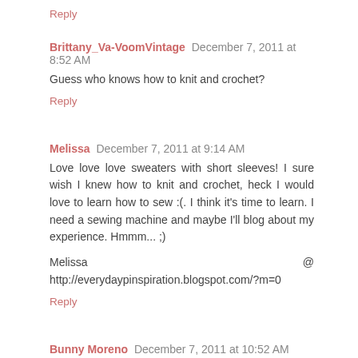Reply
Brittany_Va-VoomVintage  December 7, 2011 at 8:52 AM
Guess who knows how to knit and crochet?
Reply
Melissa  December 7, 2011 at 9:14 AM
Love love love sweaters with short sleeves! I sure wish I knew how to knit and crochet, heck I would love to learn how to sew :(. I think it's time to learn. I need a sewing machine and maybe I'll blog about my experience. Hmmm... ;)
Melissa @ http://everydaypinspiration.blogspot.com/?m=0
Reply
Bunny Moreno  December 7, 2011 at 10:52 AM